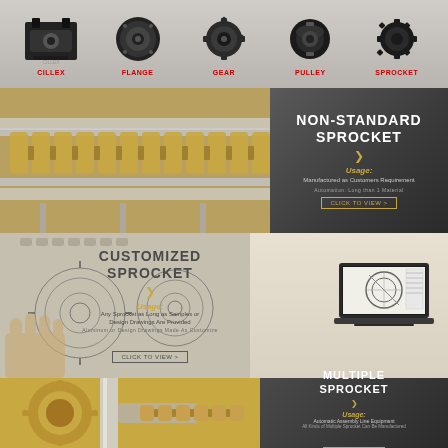[Figure (photo): Top banner showing five mechanical components: CILLEX (bracket/clamp), FLANGE (round flange), GEAR (gear wheel), PULLEY (pulley/coupling), SPROCKET (sprocket gear) - each with red label below]
CILLEX | FLANGE | GEAR | PULLEY | SPROCKET
[Figure (photo): Photo of industrial chain conveyor system with golden chain running along rails]
NON-STANDARD SPROCKET
Usage:
Manufactured as Customers Requirement
Automation: Long than 1 Material
CLICK TO VIEW >
[Figure (photo): Hand holding technical engineering drawings of sprocket with multiple CAD blueprints, and laptop showing CAD design]
CUSTOMIZED SPROCKET
Usage:
Any Sprocket as Long as Samples or Design Drawings Are Provided
Aluminum or Design Drawings Made As Customize
CLICK TO VIEW >
[Figure (photo): Close-up of large golden/beige sprocket with chain links]
MULTIPLE SPROCKET
Usage:
Automatic Assembly Line Equipment
All Kinds of Multiple Sprocket Can Be Manufactured
CLICK TO VIEW >